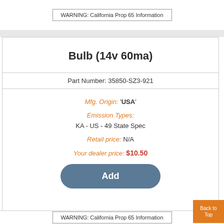WARNING: California Prop 65 Information
Bulb (14v 60ma)
Part Number: 35850-SZ3-921
Mfg. Origin: 'USA'
Emission Types: KA - US - 49 State Spec
Retail price: N/A
Your dealer price: $10.50
Add
WARNING: California Prop 65 Information